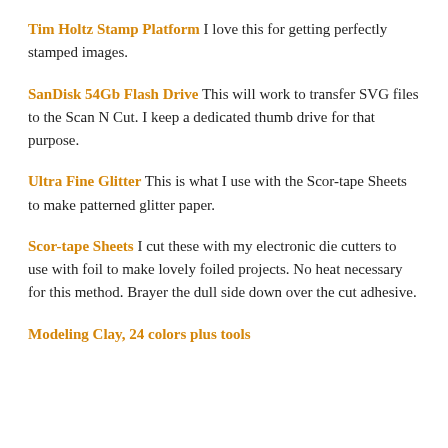Tim Holtz Stamp Platform I love this for getting perfectly stamped images.
SanDisk 54Gb Flash Drive This will work to transfer SVG files to the Scan N Cut. I keep a dedicated thumb drive for that purpose.
Ultra Fine Glitter This is what I use with the Scor-tape Sheets to make patterned glitter paper.
Scor-tape Sheets I cut these with my electronic die cutters to use with foil to make lovely foiled projects. No heat necessary for this method. Brayer the dull side down over the cut adhesive.
Modeling Clay, 24 colors plus tools